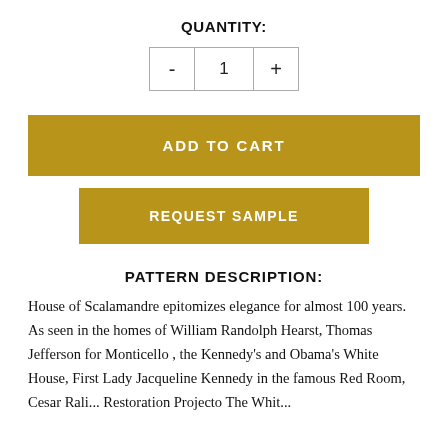QUANTITY:
- 1 +
ADD TO CART
REQUEST SAMPLE
PATTERN DESCRIPTION:
House of Scalamandre epitomizes elegance for almost 100 years. As seen in the homes of William Randolph Hearst, Thomas Jefferson for Monticello , the Kennedy's and Obama's White House, First Lady Jacqueline Kennedy in the famous Red Room, Cesar Rali...